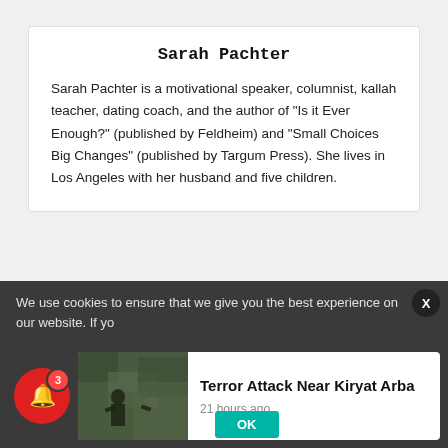Sarah Pachter
Sarah Pachter is a motivational speaker, columnist, kallah teacher, dating coach, and the author of "Is it Ever Enough?" (published by Feldheim) and "Small Choices Big Changes" (published by Targum Press). She lives in Los Angeles with her husband and five children.
We use cookies to ensure that we give you the best experience on our website. If yo
[Figure (photo): Thumbnail photo showing military/camouflage scene]
Terror Attack Near Kiryat Arba
21 hours ago